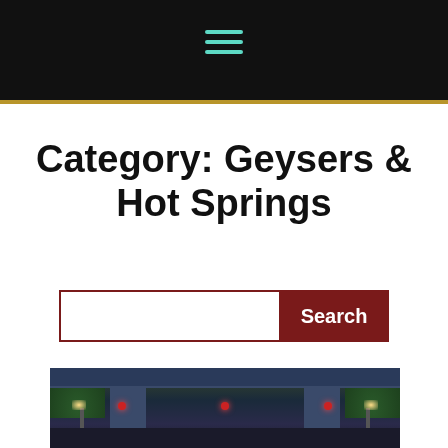[Figure (screenshot): Black header bar with hamburger menu icon (three horizontal teal/cyan lines) centered, with a gold/amber horizontal divider line below]
Category: Geysers & Hot Springs
[Figure (other): Search bar with text input field bordered in dark red on the left and a dark red 'Search' button on the right]
[Figure (photo): Nighttime photo of a bridge or gateway structure with red lights, greenery, and street lamps illuminated against dark sky]